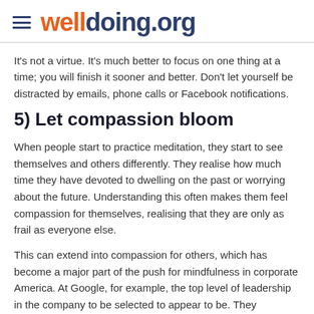welldoing.org
It's not a virtue. It's much better to focus on one thing at a time; you will finish it sooner and better. Don't let yourself be distracted by emails, phone calls or Facebook notifications.
5) Let compassion bloom
When people start to practice meditation, they start to see themselves and others differently. They realise how much time they have devoted to dwelling on the past or worrying about the future. Understanding this often makes them feel compassion for themselves, realising that they are only as frail as everyone else.
This can extend into compassion for others, which has become a major part of the push for mindfulness in corporate America. At Google, for example, the top level of leadership in the company to be selected to appear to be. They